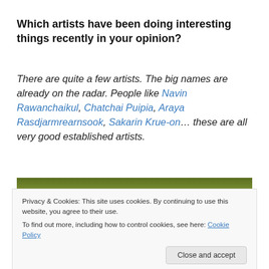Which artists have been doing interesting things recently in your opinion?
There are quite a few artists. The big names are already on the radar. People like Navin Rawanchaikul, Chatchai Puipia, Araya Rasdjarmrearnsook, Sakarin Krue-on… these are all very good established artists.
[Figure (photo): Photograph showing bamboo or grass vegetation with golden tones, partially obscured by a cookie consent banner overlay.]
Privacy & Cookies: This site uses cookies. By continuing to use this website, you agree to their use.
To find out more, including how to control cookies, see here: Cookie Policy
Close and accept